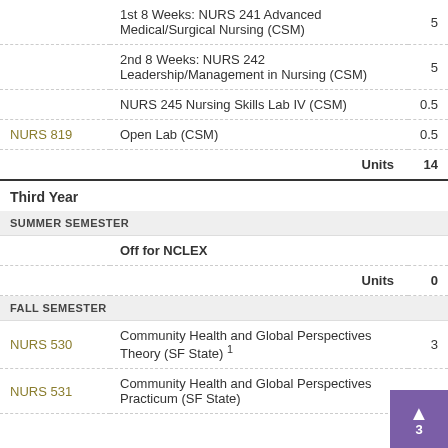| Course | Title | Units |
| --- | --- | --- |
|  | 1st 8 Weeks: NURS 241 Advanced Medical/Surgical Nursing (CSM) | 5 |
|  | 2nd 8 Weeks: NURS 242 Leadership/Management in Nursing (CSM) | 5 |
|  | NURS 245 Nursing Skills Lab IV (CSM) | 0.5 |
| NURS 819 | Open Lab (CSM) | 0.5 |
|  | Units | 14 |
| Third Year |  |  |
| SUMMER SEMESTER |  |  |
|  | Off for NCLEX |  |
|  | Units | 0 |
| FALL SEMESTER |  |  |
| NURS 530 | Community Health and Global Perspectives Theory (SF State) 1 | 3 |
| NURS 531 | Community Health and Global Perspectives Practicum (SF State) | 3 |